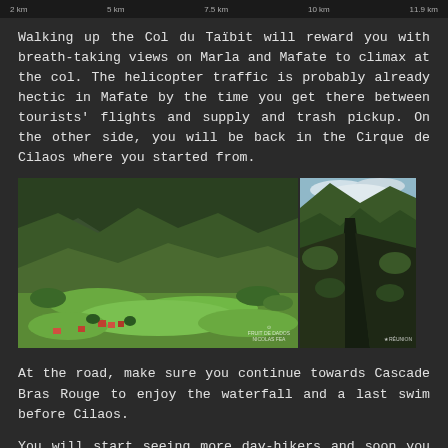Walking up the Col du Taïbit will reward you with breath-taking views on Marla and Mafate to climax at the col. The helicopter traffic is probably already hectic in Mafate by the time you get there between tourists' flights and supply and trash pickup. On the other side, you will be back in the Cirque de Cilaos where you started from.
[Figure (photo): Two side-by-side landscape photographs of mountainous terrain in Réunion island. Left photo shows a wide panoramic view of a green valley with forested mountain ridges and small red-roofed buildings. Right photo shows a steep rocky ravine with dense green vegetation.]
At the road, make sure you continue towards Cascade Bras Rouge to enjoy the waterfall and a last swim before Cilaos.
You will start seeing more day-hikers and soon you will arrive